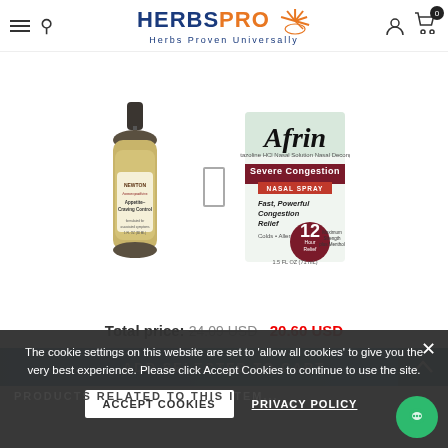HERBSPRO - Herbs Proven Universally
[Figure (photo): Newton Homeopathics Appetite-Craving Control dropper bottle product image]
[Figure (photo): Afrin Severe Congestion Nasal Spray product box image - 12 Hour Relief, Fast Powerful Congestion Relief, Colds + Allergies]
Total price: 24.09 USD  20.60 USD
ADD SELECTED TO CART
The cookie settings on this website are set to 'allow all cookies' to give you the very best experience. Please click Accept Cookies to continue to use the site.
ACCEPT COOKIES
PRIVACY POLICY
PRODUCTS RELATED TO THIS ITEM...